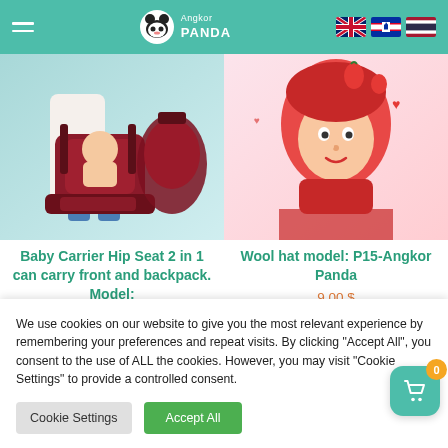Angkor Panda — navigation header with logo and language flags
[Figure (photo): Baby carrier hip seat product photo showing parent carrying child, red/maroon carrier with shoulder straps]
[Figure (photo): Woman wearing red strawberry wool hat costume, pointing gesture, product photo]
Baby Carrier Hip Seat 2 in 1 can carry front and backpack. Model:
Wool hat model: P15-Angkor Panda
9.00 $
We use cookies on our website to give you the most relevant experience by remembering your preferences and repeat visits. By clicking "Accept All", you consent to the use of ALL the cookies. However, you may visit "Cookie Settings" to provide a controlled consent.
Cookie Settings
Accept All